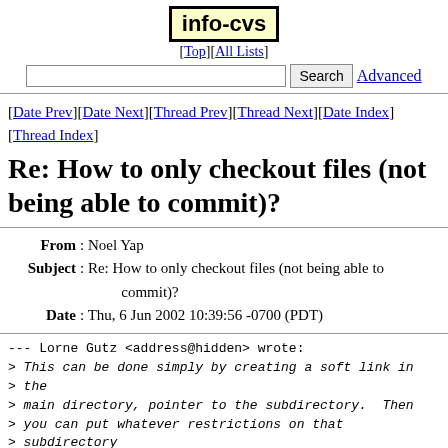info-cvs
[Top][All Lists]
Search  Advanced
[Date Prev][Date Next][Thread Prev][Thread Next][Date Index][Thread Index]
Re: How to only checkout files (not being able to commit)?
From: Noel Yap
Subject: Re: How to only checkout files (not being able to commit)?
Date: Thu, 6 Jun 2002 10:39:56 -0700 (PDT)
--- Lorne Gutz <address@hidden> wrote:
> This can be done simply by creating a soft link in
> the
> main directory, pointer to the subdirectory.  Then
> you can put whatever restrictions on that
> subdirectory